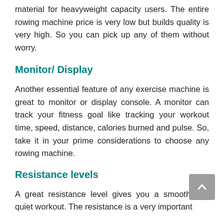material for heavyweight capacity users. The entire rowing machine price is very low but builds quality is very high. So you can pick up any of them without worry.
Monitor/ Display
Another essential feature of any exercise machine is great to monitor or display console. A monitor can track your fitness goal like tracking your workout time, speed, distance, calories burned and pulse. So, take it in your prime considerations to choose any rowing machine.
Resistance levels
A great resistance level gives you a smooth and quiet workout. The resistance is a very important